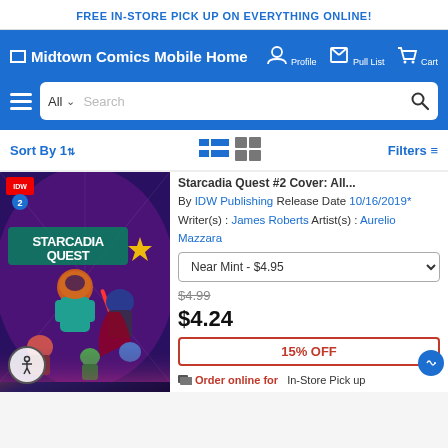FREE IN-STORE PICK UP ON EVERYTHING ONLINE!
[Figure (screenshot): Midtown Comics Mobile website navigation bar with logo, Profile, Pull List, and Cart icons on blue background]
[Figure (screenshot): Search bar with All dropdown and search field on blue background, hamburger menu icon on left]
Sort By | Filters
[Figure (illustration): Starcadia Quest #2 comic book cover art showing colorful comic book heroes]
Starcadia Quest #2 Cover: All...
By IDW Publishing Release Date 10/16/2019*
Writer(s): James Roberts Artist(s): Aurelio Mazzara
Near Mint - $4.95
$4.99
$4.24
15% OFF
Order online for In-Store Pick up